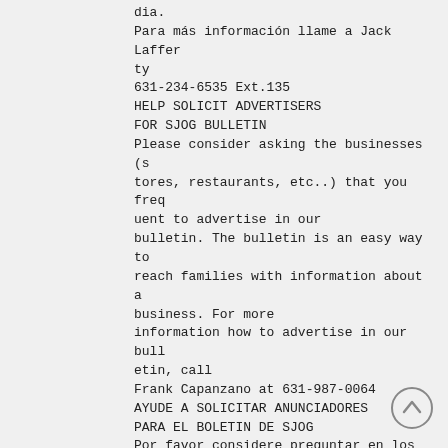dia.
Para más información llame a Jack Lafferty
631-234-6535 Ext.135
HELP SOLICIT ADVERTISERS
FOR SJOG BULLETIN
Please consider asking the businesses (stores, restaurants, etc..) that you frequent to advertise in our
bulletin. The bulletin is an easy way to reach families with information about a
business. For more
information how to advertise in our bulletin, call
Frank Capanzano at 631-987-0064
AYUDE A SOLICITAR ANUNCIADORES
PARA EL BOLETIN DE SJOG
Por favor considere preguntar en los negocios
(tiendas, restaurants, etc..) que tan frecuente
publican en nuestro boletin. El boletin es una
forma fácil de llegar a las familias con
información acerca de los negocios. Para